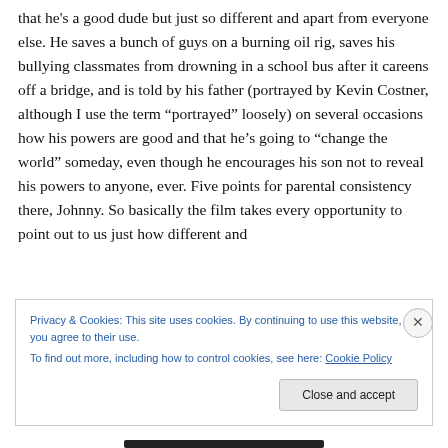that he's a good dude but just so different and apart from everyone else. He saves a bunch of guys on a burning oil rig, saves his bullying classmates from drowning in a school bus after it careens off a bridge, and is told by his father (portrayed by Kevin Costner, although I use the term “portrayed” loosely) on several occasions how his powers are good and that he’s going to “change the world” someday, even though he encourages his son not to reveal his powers to anyone, ever. Five points for parental consistency there, Johnny. So basically the film takes every opportunity to point out to us just how different and
Privacy & Cookies: This site uses cookies. By continuing to use this website, you agree to their use.
To find out more, including how to control cookies, see here: Cookie Policy